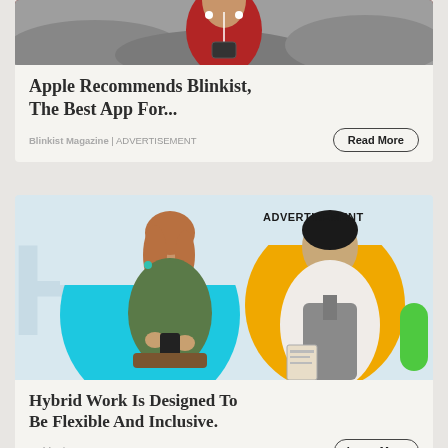[Figure (photo): Advertisement image showing a person in a red sweater with earbuds/earphones, holding a phone]
Apple Recommends Blinkist, The Best App For...
Blinkist Magazine | ADVERTISEMENT
Read More
[Figure (photo): Advertisement image showing two people: a woman in a green top looking at her phone against a teal background, and a man in an apron writing on a clipboard against a yellow arc background. Text overlay says ADVERTISEMENT. Green pill shape on right.]
Hybrid Work Is Designed To Be Flexible And Inclusive.
Insider | ADVERTISEMENT
Learn More